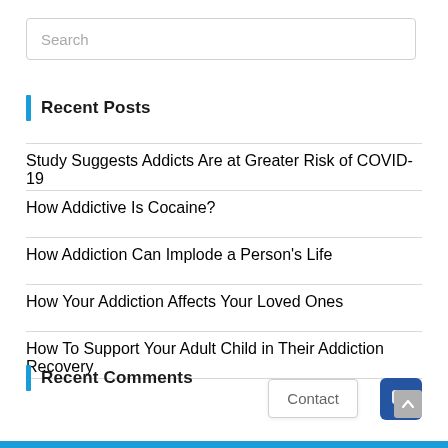Search
Recent Posts
Study Suggests Addicts Are at Greater Risk of COVID-19
How Addictive Is Cocaine?
How Addiction Can Implode a Person's Life
How Your Addiction Affects Your Loved Ones
How To Support Your Adult Child in Their Addiction Recovery
Recent Comments
Contact